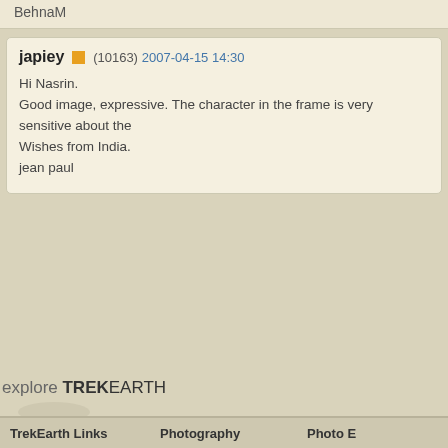BehnaM
japiey (10163) 2007-04-15 14:30
Hi Nasrin.
Good image, expressive. The character in the frame is very sensitive about the
Wishes from India.
jean paul
explore TREKEARTH
TrekEarth Links
Gallery
Forums
Members
Photography
Photos
Critiques
Themes
Photo E
Nikon D
Canon
Cano